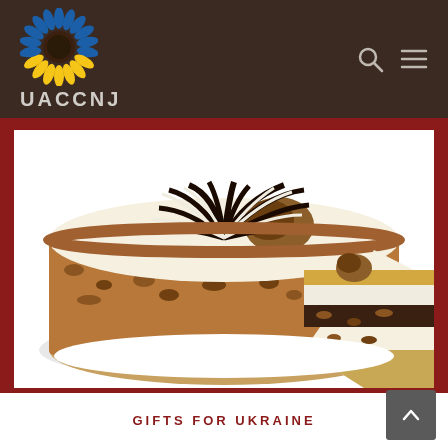[Figure (logo): UACCNJ organization logo: sunflower with blue and yellow petals on dark brown header background, with text UACCNJ below]
[Figure (photo): Photo of a Ukrainian Kyiv-style cake (tort) with walnut crumble sides, white cream and chocolate feather pattern on top, with a slice cut out revealing layered interior with nuts]
GIFTS FOR UKRAINE